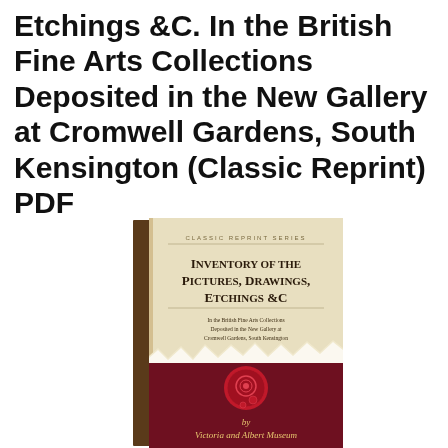Etchings &C. In the British Fine Arts Collections Deposited in the New Gallery at Cromwell Gardens, South Kensington (Classic Reprint) PDF
[Figure (illustration): Book cover of 'Inventory of the Pictures, Drawings, Etchings &C' from the Classic Reprint Series, published by Victoria and Albert Museum. The cover has a cream/beige upper half with small caps serif title text and a torn-paper effect dividing it from a dark red/maroon lower half featuring a red wax seal and gold script text 'by Victoria and Albert Museum'.]